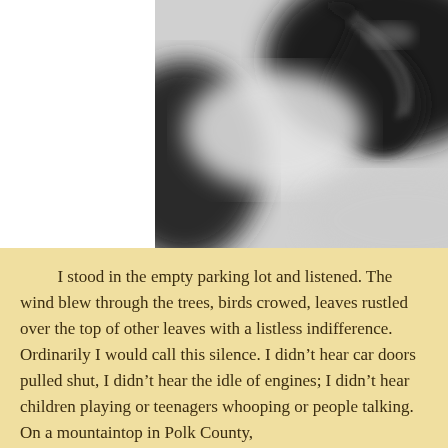[Figure (photo): Black and white close-up photograph of what appears to be a snake or similar dark textured object with blurred background]
I stood in the empty parking lot and listened. The wind blew through the trees, birds crowed, leaves rustled over the top of other leaves with a listless indifference. Ordinarily I would call this silence. I didn't hear car doors pulled shut, I didn't hear the idle of engines; I didn't hear children playing or teenagers whooping or people talking. On a mountaintop in Polk County,